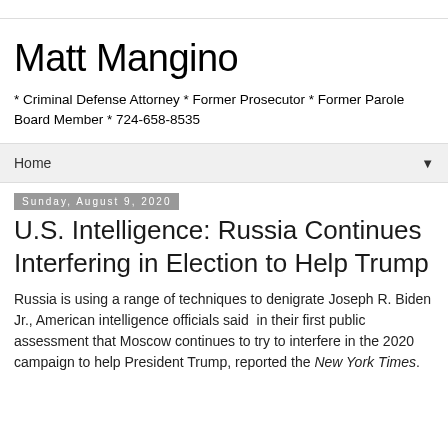Matt Mangino
* Criminal Defense Attorney * Former Prosecutor * Former Parole Board Member * 724-658-8535
Home
Sunday, August 9, 2020
U.S. Intelligence: Russia Continues Interfering in Election to Help Trump
Russia is using a range of techniques to denigrate Joseph R. Biden Jr., American intelligence officials said  in their first public assessment that Moscow continues to try to interfere in the 2020 campaign to help President Trump, reported the New York Times.